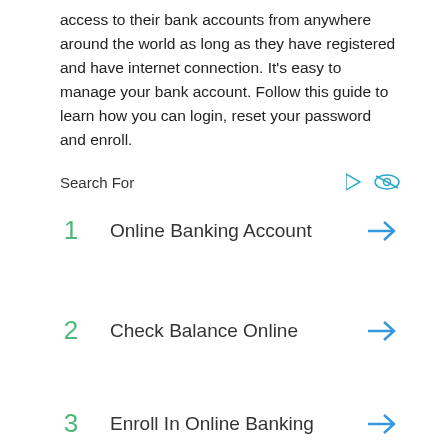access to their bank accounts from anywhere around the world as long as they have registered and have internet connection. It's easy to manage your bank account. Follow this guide to learn how you can login, reset your password and enroll.
Search For
1  Online Banking Account
2  Check Balance Online
3  Enroll In Online Banking